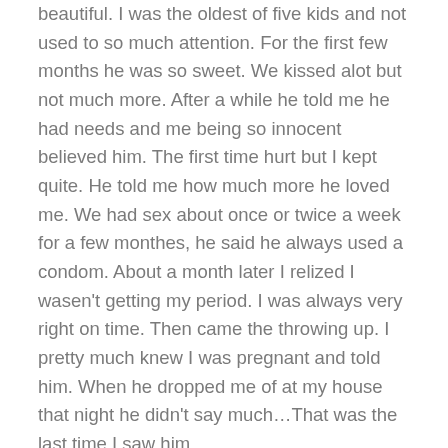beautiful. I was the oldest of five kids and not used to so much attention. For the first few months he was so sweet. We kissed alot but not much more. After a while he told me he had needs and me being so innocent believed him. The first time hurt but I kept quite. He told me how much more he loved me. We had sex about once or twice a week for a few monthes, he said he always used a condom. About a month later I relized I wasen't getting my period. I was always very right on time. Then came the throwing up. I pretty much knew I was pregnant and told him. When he dropped me of at my house that night he didn't say much…That was the last time I saw him.
So here I was fourteen, pregnant, alone and didn't know what to do. About a week after I found out my mom came in to the bathroom early one night and asked me why I kept throwing up.